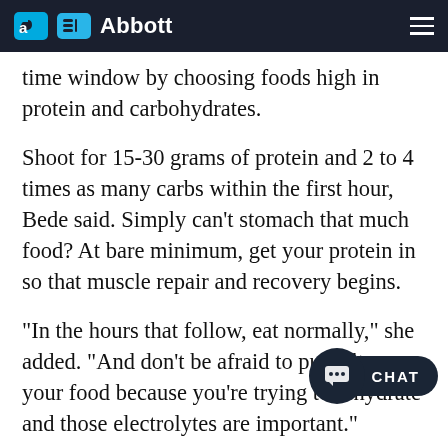Abbott
time window by choosing foods high in protein and carbohydrates.
Shoot for 15-30 grams of protein and 2 to 4 times as many carbs within the first hour, Bede said. Simply can't stomach that much food? At bare minimum, get your protein in so that muscle repair and recovery begins.
"In the hours that follow, eat normally," she added. "And don't be afraid to put salt on your food because you're trying to rehydrate and those electrolytes are important."
During the following week, keep those protein-rich